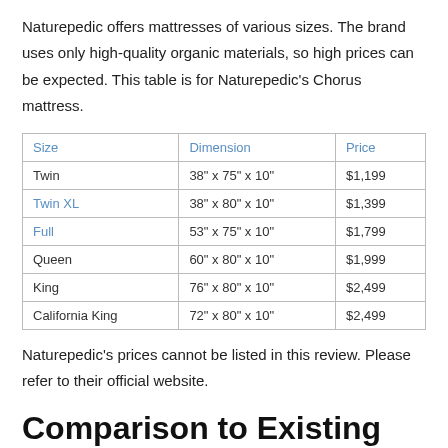Naturepedic offers mattresses of various sizes. The brand uses only high-quality organic materials, so high prices can be expected. This table is for Naturepedic's Chorus mattress.
| Size | Dimension | Price |
| --- | --- | --- |
| Twin | 38" x 75" x 10" | $1,199 |
| Twin XL | 38" x 80" x 10" | $1,399 |
| Full | 53" x 75" x 10" | $1,799 |
| Queen | 60" x 80" x 10" | $1,999 |
| King | 76" x 80" x 10" | $2,499 |
| California King | 72" x 80" x 10" | $2,499 |
Naturepedic's prices cannot be listed in this review. Please refer to their official website.
Comparison to Existing Mattresses
While Naturepedic has its own strong points, it's understandable if you cannot afford it. There are alternatives to choose from, at